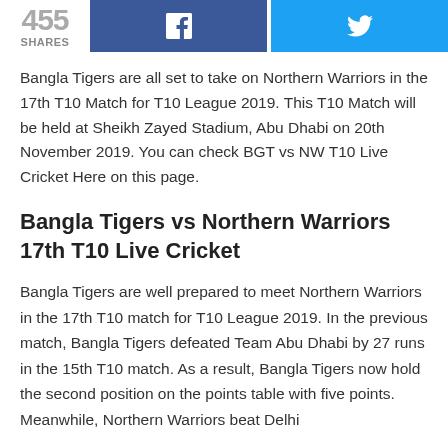455 SHARES [Facebook share button] [Twitter share button]
Bangla Tigers are all set to take on Northern Warriors in the 17th T10 Match for T10 League 2019. This T10 Match will be held at Sheikh Zayed Stadium, Abu Dhabi on 20th November 2019. You can check BGT vs NW T10 Live Cricket Here on this page.
Bangla Tigers vs Northern Warriors 17th T10 Live Cricket
Bangla Tigers are well prepared to meet Northern Warriors in the 17th T10 match for T10 League 2019. In the previous match, Bangla Tigers defeated Team Abu Dhabi by 27 runs in the 15th T10 match. As a result, Bangla Tigers now hold the second position on the points table with five points. Meanwhile, Northern Warriors beat Delhi